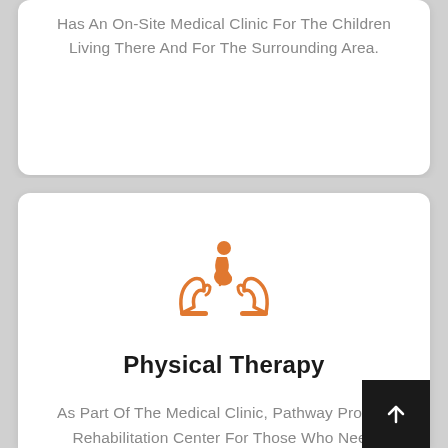Has An On-Site Medical Clinic For The Children Living There And For The Surrounding Area.
[Figure (illustration): Orange icon of two hands holding up a person in a wheelchair (disability care / physical therapy symbol)]
Physical Therapy
As Part Of The Medical Clinic, Pathway Provide Rehabilitation Center For Those Who Need Physical Therapy.